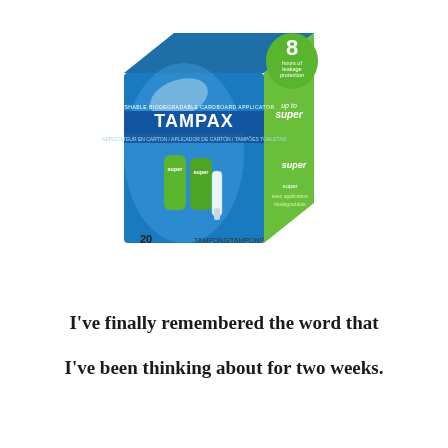[Figure (photo): A box of Tampax tampons with cardboard applicator, green and blue packaging, 20 count, super absorbency.]
I've finally remembered the word that I've been thinking about for two weeks.